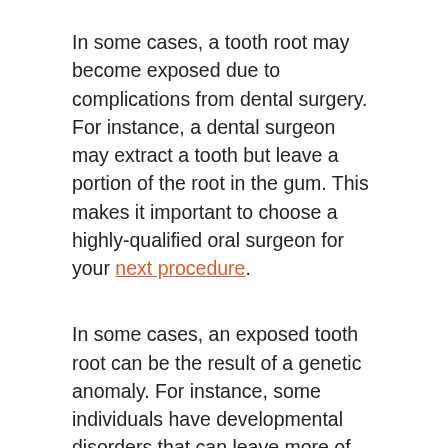In some cases, a tooth root may become exposed due to complications from dental surgery. For instance, a dental surgeon may extract a tooth but leave a portion of the root in the gum. This makes it important to choose a highly-qualified oral surgeon for your next procedure.
In some cases, an exposed tooth root can be the result of a genetic anomaly. For instance, some individuals have developmental disorders that can leave more of their roots exposed than is normal.
How Do You Treat